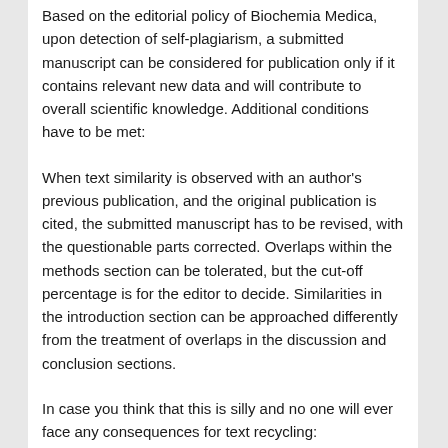Based on the editorial policy of Biochemia Medica, upon detection of self-plagiarism, a submitted manuscript can be considered for publication only if it contains relevant new data and will contribute to overall scientific knowledge. Additional conditions have to be met:
When text similarity is observed with an author's previous publication, and the original publication is cited, the submitted manuscript has to be revised, with the questionable parts corrected. Overlaps within the methods section can be tolerated, but the cut-off percentage is for the editor to decide. Similarities in the introduction section can be approached differently from the treatment of overlaps in the discussion and conclusion sections.
In case you think that this is silly and no one will ever face any consequences for text recycling: http://www.ithenticate.com/plagiarism-detection-blog/bid/94140/The-Challenge-of-Repeating-Methods-While-Avoiding-Plagiarism#.WUAFon0bjeQ (or search